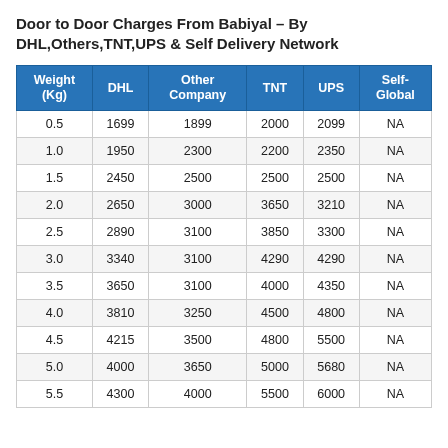Door to Door Charges From Babiyal – By DHL,Others,TNT,UPS & Self Delivery Network
| Weight (Kg) | DHL | Other Company | TNT | UPS | Self-Global |
| --- | --- | --- | --- | --- | --- |
| 0.5 | 1699 | 1899 | 2000 | 2099 | NA |
| 1.0 | 1950 | 2300 | 2200 | 2350 | NA |
| 1.5 | 2450 | 2500 | 2500 | 2500 | NA |
| 2.0 | 2650 | 3000 | 3650 | 3210 | NA |
| 2.5 | 2890 | 3100 | 3850 | 3300 | NA |
| 3.0 | 3340 | 3100 | 4290 | 4290 | NA |
| 3.5 | 3650 | 3100 | 4000 | 4350 | NA |
| 4.0 | 3810 | 3250 | 4500 | 4800 | NA |
| 4.5 | 4215 | 3500 | 4800 | 5500 | NA |
| 5.0 | 4000 | 3650 | 5000 | 5680 | NA |
| 5.5 | 4300 | 4000 | 5500 | 6000 | NA |